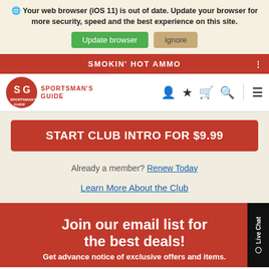🌐 Your web browser (iOS 11) is out of date. Update your browser for more security, speed and the best experience on this site.
Update browser | Ignore
SMOKIN' HOT AMMO
[Figure (logo): Sportsman's Guide logo with SG letters in orange circle and text SPORTSMAN'S GUIDE]
START CLUB INTRO FOR $9.99
Already a member? Renew Today
Learn More About the Club
Join our email list for the best deals!
Get advance notice of exclusive offers and items.